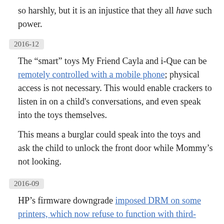so harshly, but it is an injustice that they all have such power.
2016-12
The “smart” toys My Friend Cayla and i-Que can be remotely controlled with a mobile phone; physical access is not necessary. This would enable crackers to listen in on a child's conversations, and even speak into the toys themselves.
This means a burglar could speak into the toys and ask the child to unlock the front door while Mommy’s not looking.
2016-09
HP’s firmware downgrade imposed DRM on some printers, which now refuse to function with third-party ink cartridges.
2016-08
Ransomware has been developed for a thermostat that